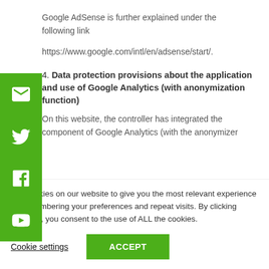Google AdSense is further explained under the following link
https://www.google.com/intl/en/adsense/start/.
4. Data protection provisions about the application and use of Google Analytics (with anonymization function)
On this website, the controller has integrated the component of Google Analytics (with the anonymizer
use cookies on our website to give you the most relevant experience by remembering your preferences and repeat visits. By clicking “Accept”, you consent to the use of ALL the cookies.
Cookie settings
ACCEPT